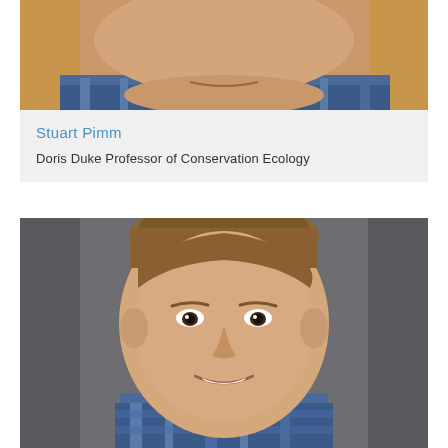[Figure (photo): Close-up cropped photo of Stuart Pimm, showing lower face and chin with orange/warm background]
Stuart Pimm
Doris Duke Professor of Conservation Ecology
[Figure (photo): Headshot portrait photo of a smiling young man with short brown hair wearing a blue plaid shirt, against a grey background]